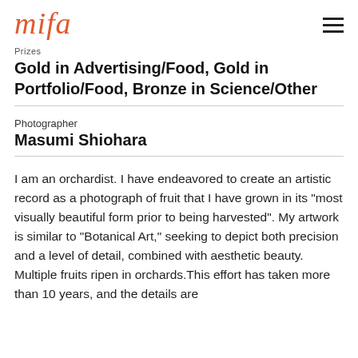mifa
Prizes
Gold in Advertising/Food, Gold in Portfolio/Food, Bronze in Science/Other
Photographer
Masumi Shiohara
I am an orchardist. I have endeavored to create an artistic record as a photograph of fruit that I have grown in its "most visually beautiful form prior to being harvested". My artwork is similar to "Botanical Art," seeking to depict both precision and a level of detail, combined with aesthetic beauty. Multiple fruits ripen in orchards.This effort has taken more than 10 years, and the details are